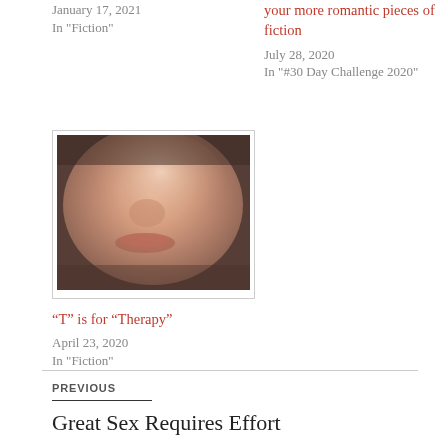January 17, 2021
In "Fiction"
your more romantic pieces of fiction
July 28, 2020
In "#30 Day Challenge 2020"
[Figure (photo): Close-up blurred photo of a face, nose and lips visible]
“T” is for “Therapy”
April 23, 2020
In "Fiction"
PREVIOUS
Great Sex Requires Effort